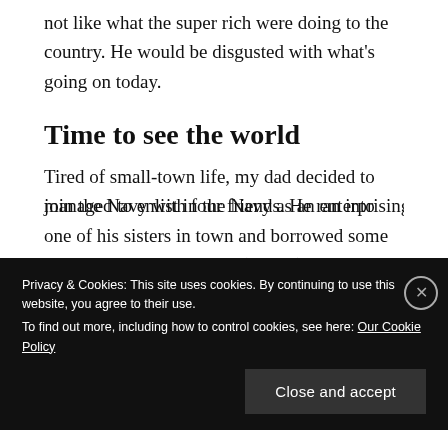not like what the super rich were doing to the country. He would be disgusted with what's going on today.
Time to see the world
Tired of small-town life, my dad decided to join the Navy with four friends. He ran into one of his sisters in town and borrowed some money to get to Roanoke (I think) to go to the recruiting station (she didn't believe him, but loaned him the money anyway). They never managed to enlist in the Navy as an enterprising
Privacy & Cookies: This site uses cookies. By continuing to use this website, you agree to their use.
To find out more, including how to control cookies, see here: Our Cookie Policy
Close and accept